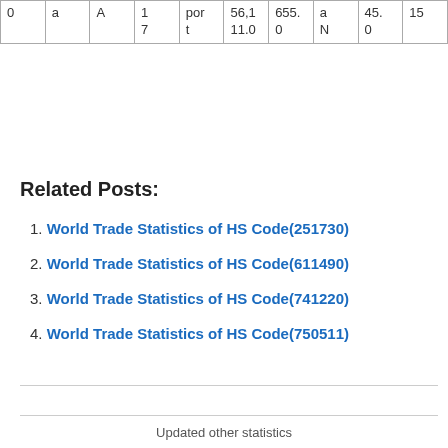| 0 | a | A | 1
7 | por
t | 56,1
11.0 | 655.
0 | a
N | 45.
0 | 15 |
Related Posts:
World Trade Statistics of HS Code(251730)
World Trade Statistics of HS Code(611490)
World Trade Statistics of HS Code(741220)
World Trade Statistics of HS Code(750511)
Updated other statistics